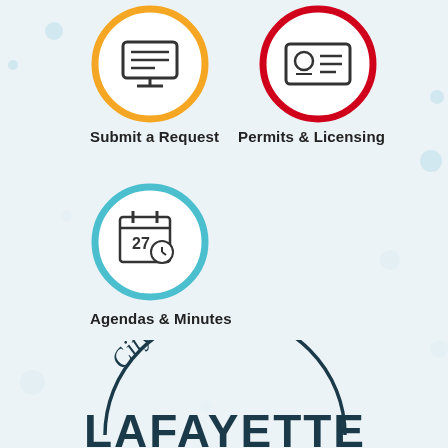[Figure (illustration): Orange circle icon with a computer/monitor screen showing a request form (lines of text on screen)]
Submit a Request
[Figure (illustration): Red circle icon with an ID card / license card showing a person silhouette and lines]
Permits & Licensing
[Figure (illustration): Teal/cyan circle icon with a calendar showing date 27 and a clock]
Agendas & Minutes
[Figure (logo): City of Lafayette logo — arc text reading 'City of Lafayette' in dark teal, with bold LAFAYETTE below in large dark teal serif letters]